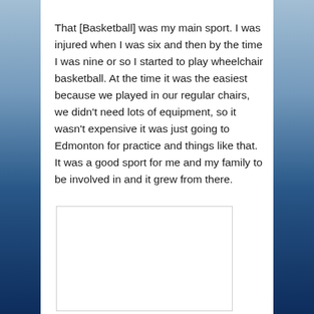That [Basketball] was my main sport. I was injured when I was six and then by the time I was nine or so I started to play wheelchair basketball. At the time it was the easiest because we played in our regular chairs, we didn't need lots of equipment, so it wasn't expensive it was just going to Edmonton for practice and things like that. It was a good sport for me and my family to be involved in and it grew from there.
[Figure (photo): A white rectangular box with a border, partially visible at the bottom of the page, appearing to be a placeholder or image frame.]